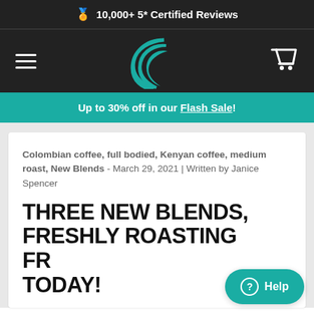🏅 10,000+ 5* Certified Reviews
[Figure (logo): Crescent moon / wave logo in teal on dark background with hamburger menu on left and cart icon on right]
Up to 30% off in our Flash Sale!
Colombian coffee, full bodied, Kenyan coffee, medium roast, New Blends - March 29, 2021 | Written by Janice Spencer
THREE NEW BLENDS, FRESHLY ROASTING FROM TODAY!
Help